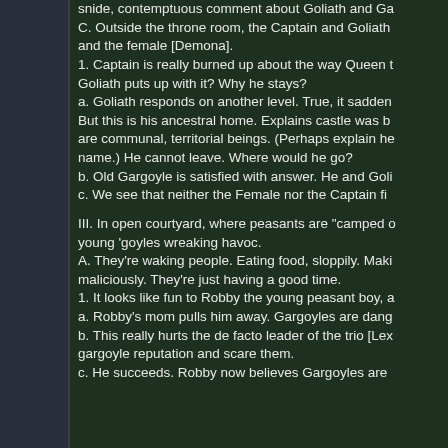snide, contemptuous comment about Goliath and Ga
C. Outside the throne room, the Captain and Goliath and the female [Demona].
1. Captain is really burned up about the way Queen t Goliath puts up with it? Why he stays?
a. Goliath responds on another level. True, it sadden But this is his ancestral home. Explains castle was b are communal, territorial beings. (Perhaps explain he name.) He cannot leave. Where would he go?
b. Old Gargoyle is satisfied with answer. He and Goli
c. We see that neither the Female nor the Captain fi
III. In open courtyard, where peasants are "camped o young 'goyles wreaking havoc.
A. They're waking people. Eating food, sloppily. Maki maliciously. They're just having a good time.
1. It looks like fun to Robby the young peasant boy, a
a. Robby's mom pulls him away. Gargoyles are dang
b. This really hurts the de facto leader of the trio [Lex gargoyle reputation and scare them.
c. He succeeds. Robby now believes Gargoyles are